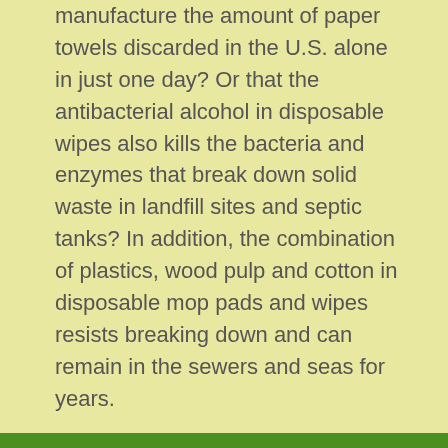manufacture the amount of paper towels discarded in the U.S. alone in just one day? Or that the antibacterial alcohol in disposable wipes also kills the bacteria and enzymes that break down solid waste in landfill sites and septic tanks? In addition, the combination of plastics, wood pulp and cotton in disposable mop pads and wipes resists breaking down and can remain in the sewers and seas for years.
4  Not being aware of the “hazards of homemade.”
Creating your own cleaning products